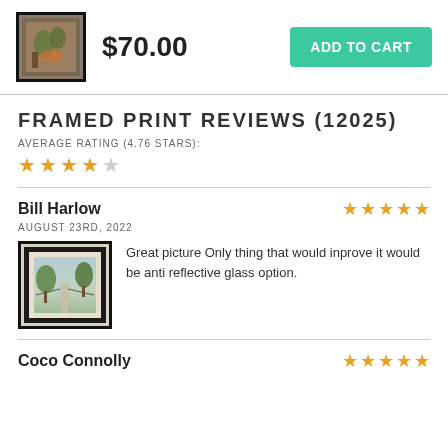[Figure (photo): Product thumbnail of framed print showing a painting of a tree with orange/yellow tones, with thick black frame border]
$70.00
ADD TO CART
FRAMED PRINT REVIEWS (12025)
AVERAGE RATING (4.76 STARS):
[Figure (other): 4 full gold stars and 1 empty/grey star representing average rating of 4.76]
Bill Harlow
AUGUST 23RD, 2022
[Figure (other): 5 gold stars representing reviewer rating]
[Figure (photo): Review photo of framed print showing a country road with trees and fence in landscape format with cream mat and black frame]
Great picture Only thing that would inprove it would be anti reflective glass option.
Coco Connolly
[Figure (other): 5 gold stars representing reviewer rating]